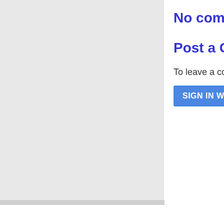No comments:
Post a Comment
To leave a comm
SIGN IN WITH GO
Newer Post